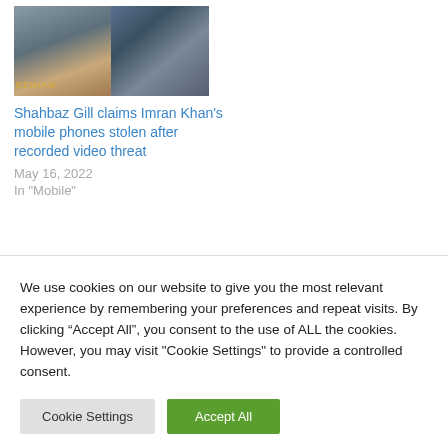[Figure (photo): Two-panel image: left panel shows a man at a podium with green/yellow banner reading 'EENIAN', right panel shows another man speaking or gesturing]
Shahbaz Gill claims Imran Khan's mobile phones stolen after recorded video threat
May 16, 2022
In "Mobile"
We use cookies on our website to give you the most relevant experience by remembering your preferences and repeat visits. By clicking “Accept All”, you consent to the use of ALL the cookies. However, you may visit "Cookie Settings" to provide a controlled consent.